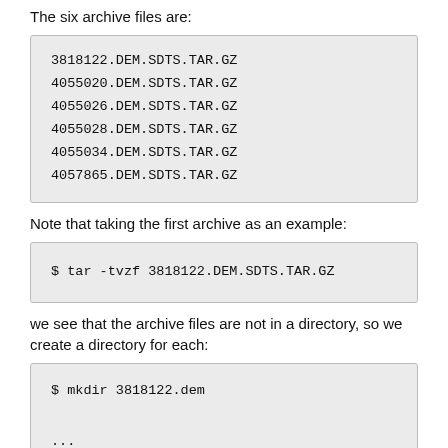The six archive files are:
3818122.DEM.SDTS.TAR.GZ
4055020.DEM.SDTS.TAR.GZ
4055026.DEM.SDTS.TAR.GZ
4055028.DEM.SDTS.TAR.GZ
4055034.DEM.SDTS.TAR.GZ
4057865.DEM.SDTS.TAR.GZ
Note that taking the first archive as an example:
$ tar -tvzf 3818122.DEM.SDTS.TAR.GZ
we see that the archive files are not in a directory, so we create a directory for each:
$ mkdir 3818122.dem
...